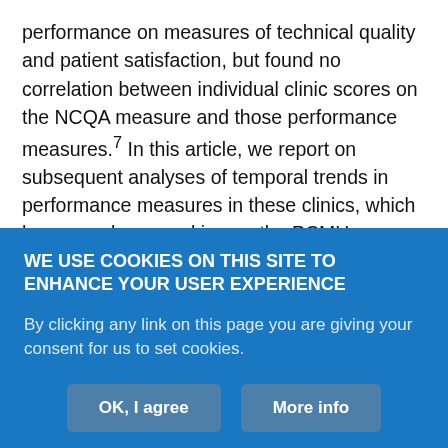performance on measures of technical quality and patient satisfaction, but found no correlation between individual clinic scores on the NCQA measure and those performance measures.7 In this article, we report on subsequent analyses of temporal trends in performance measures in these clinics, which have now been working on the PCMH transformation process for nearly 10 years. Separate data sources and analyses allowed us to assess both the rate of change in internal measures over time and how trends in quality and satisfaction measures for HealthPartners-insured patients compared within HPMG clinics as a whole, and with those of competing medical groups with HealthPartners contracts throughout
WE USE COOKIES ON THIS SITE TO ENHANCE YOUR USER EXPERIENCE
By clicking any link on this page you are giving your consent for us to set cookies.